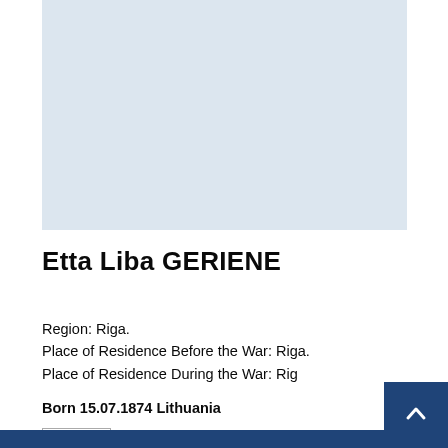[Figure (photo): Light blue/grey placeholder rectangle representing a person's photo]
Etta Liba GERIENE
Region: Riga.
Place of Residence Before the War: Riga.
Place of Residence During the War: Riga.
Born 15.07.1874 Lithuania